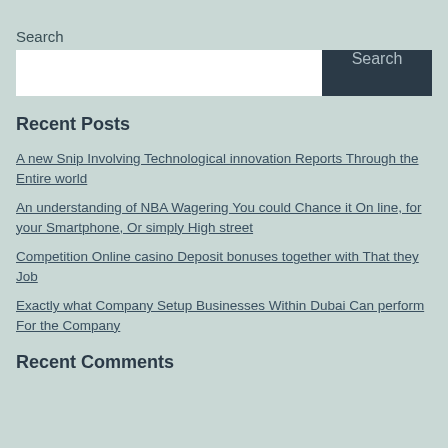Search
Search [input box with Search button]
Recent Posts
A new Snip Involving Technological innovation Reports Through the Entire world
An understanding of NBA Wagering You could Chance it On line, for your Smartphone, Or simply High street
Competition Online casino Deposit bonuses together with That they Job
Exactly what Company Setup Businesses Within Dubai Can perform For the Company
Recent Comments